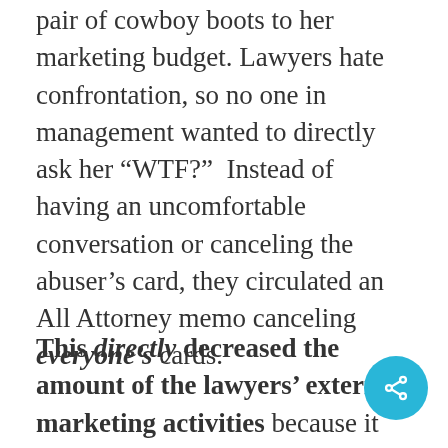pair of cowboy boots to her marketing budget. Lawyers hate confrontation, so no one in management wanted to directly ask her “WTF?”  Instead of having an uncomfortable conversation or canceling the abuser’s card, they circulated an All Attorney memo canceling everyone’s cards.
This directly decreased the amount of the lawyers’ external marketing activities because it wasn’t worth the hassle of (1) charging something to their personal cards, then (2) filling out the paperwork, and (3)